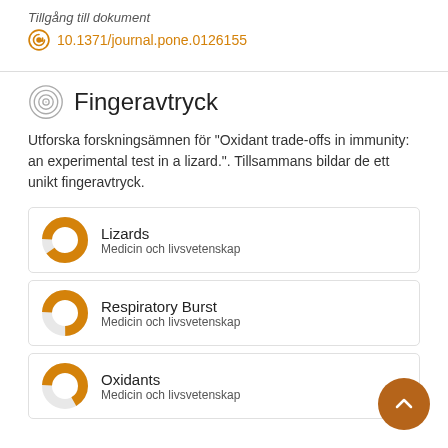Tillgång till dokument
10.1371/journal.pone.0126155
Fingeravtryck
Utforska forskningsämnen för "Oxidant trade-offs in immunity: an experimental test in a lizard.". Tillsammans bildar de ett unikt fingeravtryck.
Lizards
Medicin och livsvetenskap
Respiratory Burst
Medicin och livsvetenskap
Oxidants
Medicin och livsvetenskap